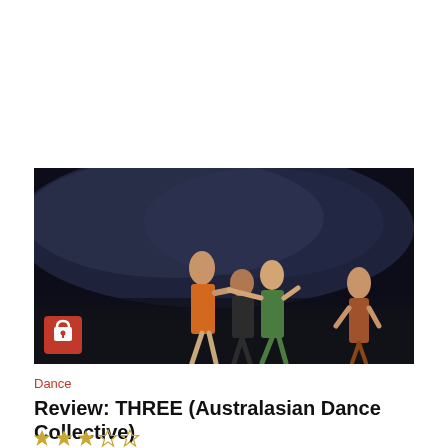[Figure (photo): Stage performance photo showing dancers on a dark stage with atmospheric haze/smoke. Three dancers are visible centre-stage, one in orange, one in dark clothing, one in green, appearing to interact in close physical contact. A fourth dancer stands apart on the right in reddish clothing. A red badge with a padlock icon appears in the bottom-left corner of the image.]
Dance
Review: THREE (Australasian Dance Collective)
★★★☆☆ (3 out of 5 stars)